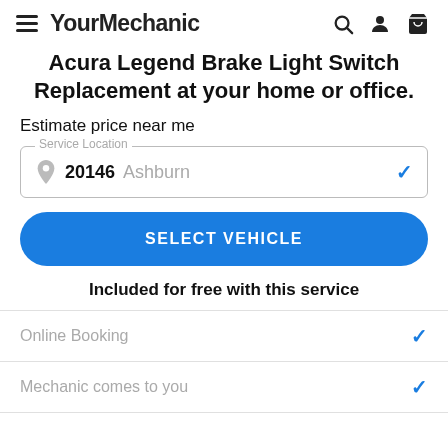YourMechanic
Acura Legend Brake Light Switch Replacement at your home or office.
Estimate price near me
Service Location — 20146 Ashburn
SELECT VEHICLE
Included for free with this service
Online Booking
Mechanic comes to you